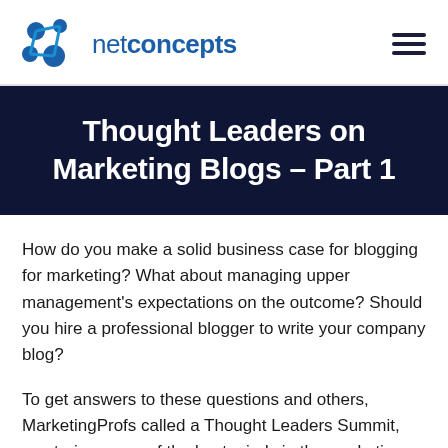netconcepts
Thought Leaders on Marketing Blogs – Part 1
How do you make a solid business case for blogging for marketing? What about managing upper management's expectations on the outcome? Should you hire a professional blogger to write your company blog?
To get answers to these questions and others, MarketingProfs called a Thought Leaders Summit, mustering some of the best minds in the marketing and blogging. In a 90-minute session, we tapped into the wisdom of the following gurus in Internet marketing and